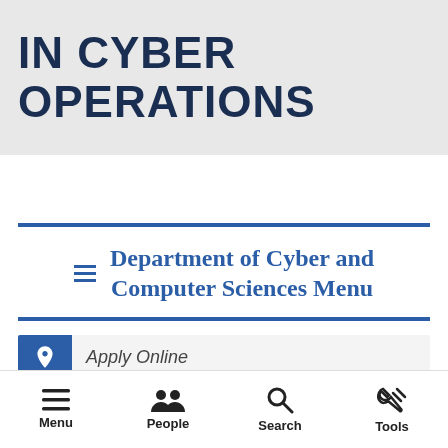IN CYBER OPERATIONS
Department of Cyber and Computer Sciences Menu
Apply Online
Menu  People  Search  Tools